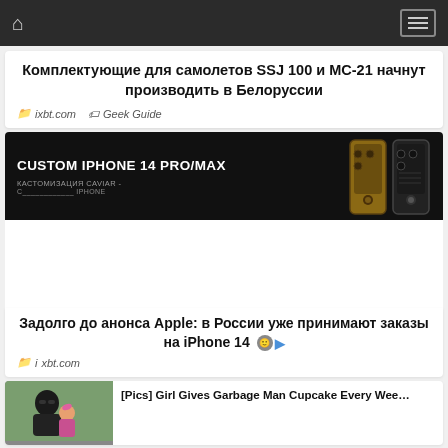Navigation bar with home icon and menu
Комплектующие для самолетов SSJ 100 и МС-21 начнут производить в Белоруссии
ixbt.com  Geek Guide
[Figure (photo): Custom iPhone 14 Pro/Max advertisement banner — dark background with two ornate phone cases, text: CUSTOM IPHONE 14 PRO/MAX, КАСТОМИЗАЦИЯ CAVIAR]
Задолго до анонса Apple: в России уже принимают заказы на iPhone 14
ixbt.com
[Figure (photo): Teaser image: man with child — [Pics] Girl Gives Garbage Man Cupcake Every Wee…]
[Figure (photo): Bottom row of images with phone products and arrow]